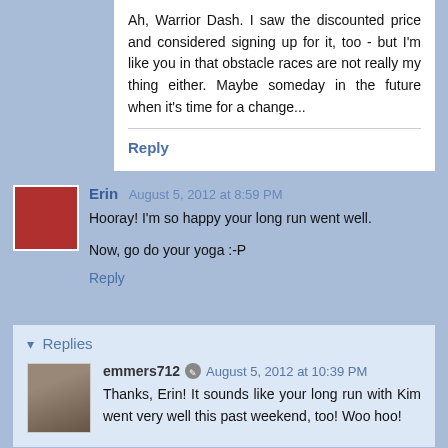Ah, Warrior Dash. I saw the discounted price and considered signing up for it, too - but I'm like you in that obstacle races are not really my thing either. Maybe someday in the future when it's time for a change...
Reply
Erin  August 5, 2012 at 8:59 PM
Hooray! I'm so happy your long run went well.
Now, go do your yoga :-P
Reply
▾ Replies
emmers712  August 5, 2012 at 10:39 PM
Thanks, Erin! It sounds like your long run with Kim went very well this past weekend, too! Woo hoo!